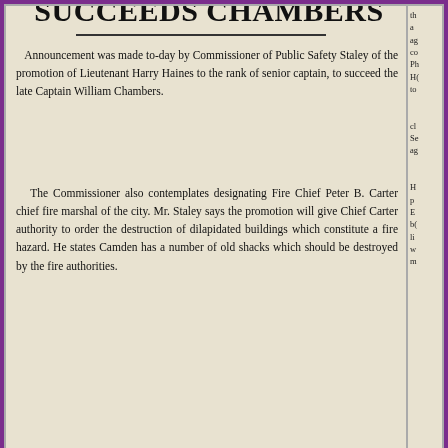SUCCEEDS CHAMBERS
Announcement was made to-day by Commissioner of Public Safety Staley of the promotion of Lieutenant Harry Haines to the rank of senior captain, to succeed the late Captain William Chambers.
The Commissioner also contemplates designating Fire Chief Peter B. Carter chief fire marshal of the city. Mr. Staley says the promotion will give Chief Carter authority to order the destruction of dilapidated buildings which constitute a fire hazard. He states Camden has a number of old shacks which should be destroyed by the fire authorities.
FIREMAN IS SUSPENDED
FOR BEING INTOXIC—